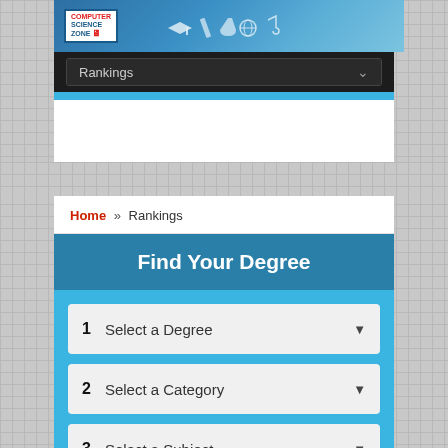[Figure (screenshot): Computer Science Zone website header banner with logo and education icons on blue gradient background]
Rankings ▾
Home » Rankings
Find Your Degree
1   Select a Degree ▾
2   Select a Category ▾
3   Select a Subject ▾